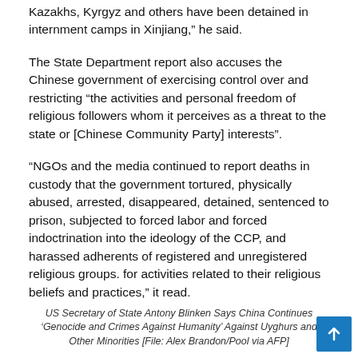Kazakhs, Kyrgyz and others have been detained in internment camps in Xinjiang,” he said.
The State Department report also accuses the Chinese government of exercising control over and restricting “the activities and personal freedom of religious followers whom it perceives as a threat to the state or [Chinese Community Party] interests”.
“NGOs and the media continued to report deaths in custody that the government tortured, physically abused, arrested, disappeared, detained, sentenced to prison, subjected to forced labor and forced indoctrination into the ideology of the CCP, and harassed adherents of registered and unregistered religious groups. for activities related to their religious beliefs and practices,” it read.
US Secretary of State Antony Blinken Says China Continues ‘Genocide and Crimes Against Humanity’ Against Uyghurs and Other Minorities [File: Alex Brandon/Pool via AFP]